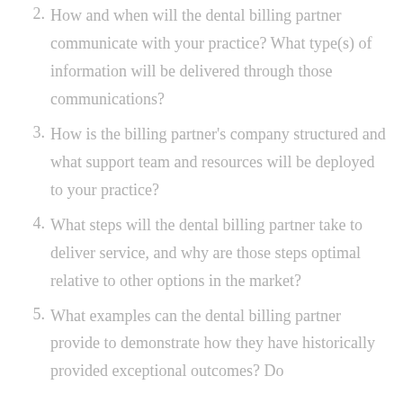2. How and when will the dental billing partner communicate with your practice? What type(s) of information will be delivered through those communications?
3. How is the billing partner's company structured and what support team and resources will be deployed to your practice?
4. What steps will the dental billing partner take to deliver service, and why are those steps optimal relative to other options in the market?
5. What examples can the dental billing partner provide to demonstrate how they have historically provided exceptional outcomes? Do